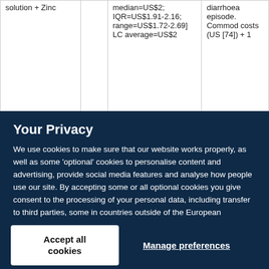| solution + Zinc |  | median=US$2; IQR=US$1.91-2.16; range=US$1.72-2.69]
LC average=US$2 | diarrhoea episode. Commod costs (US [74]) + 1 |
Your Privacy
We use cookies to make sure that our website works properly, as well as some 'optional' cookies to personalise content and advertising, provide social media features and analyse how people use our site. By accepting some or all optional cookies you give consent to the processing of your personal data, including transfer to third parties, some in countries outside of the European Economic Area that do not offer the same data protection standards as the country where you live. You can decide which optional cookies to accept by clicking on 'Manage Settings', where you can also find more information about how your personal data is processed. Further information can be found in our privacy policy.